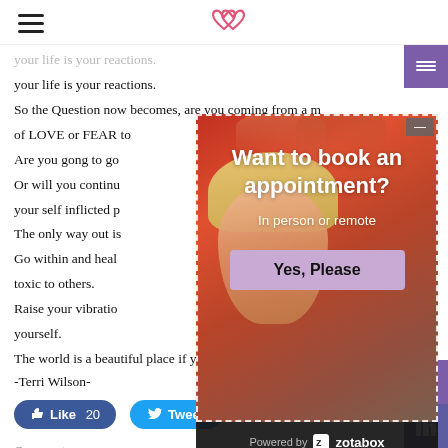≡  ♡♡
your life is your reactions.
So the Question now becomes, are you coming from a m...
of LOVE or FEAR to...
Are you gong to go...
Or will you continu...
your self inflicted p...
The only way out is...
Go within and heal...
toxic to others.
Raise your vibratio...
yourself.
The world is a beautiful place if you simply allow it to be.
-Terri Wilson-
[Figure (other): Appointment booking popup modal with a woman receiving a head massage on a red background. Modal contains text 'Want to book an appointment?', 'In person or remote', a 'Yes, Please' button, and Powered by zotabox footer.]
Like 20
Tweet
Comments